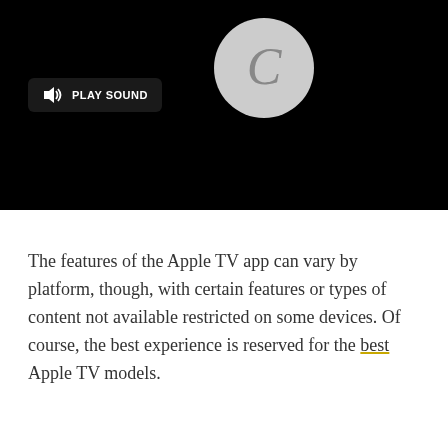[Figure (screenshot): Black video player area with a 'PLAY SOUND' button with speaker icon on the left side, and a gray circle with a 'C' letter in the center of the black area.]
The features of the Apple TV app can vary by platform, though, with certain features or types of content not available restricted on some devices. Of course, the best experience is reserved for the best Apple TV models.